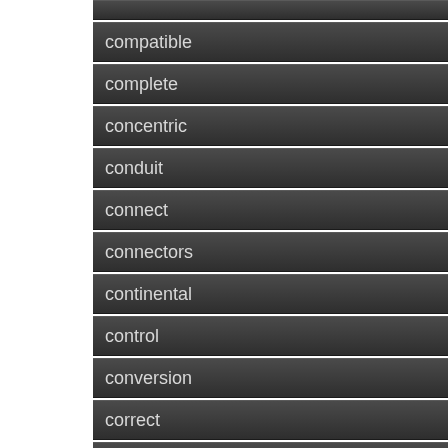compatible
complete
concentric
conduit
connect
connectors
continental
control
conversion
correct
correctly